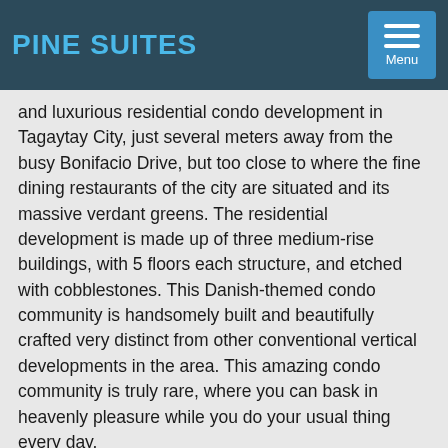PINE SUITES
and luxurious residential condo development in Tagaytay City, just several meters away from the busy Bonifacio Drive, but too close to where the fine dining restaurants of the city are situated and its massive verdant greens. The residential development is made up of three medium-rise buildings, with 5 floors each structure, and etched with cobblestones. This Danish-themed condo community is handsomely built and beautifully crafted very distinct from other conventional vertical developments in the area. This amazing condo community is truly rare, where you can bask in heavenly pleasure while you do your usual thing every day.
The Pine Suites is situated along Bonifacio Drive, Tagaytay City, Cavite, an address nobody wants to lose because they have more to gain. This ideal location takes you closer to Tagaytay's majestic valleys, the finest resorts near the sky, the verdant hills that scream of fine scented pine trees, and the